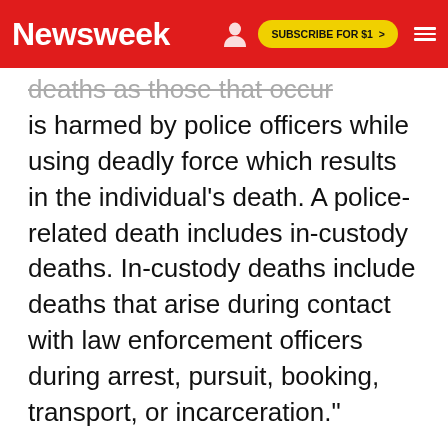Newsweek | SUBSCRIBE FOR $1 >
deaths as those that occur when an individual is harmed by police officers while using deadly force which results in the individual's death. A police-related death includes in-custody deaths. In-custody deaths include deaths that arise during contact with law enforcement officers during arrest, pursuit, booking, transport, or incarceration."